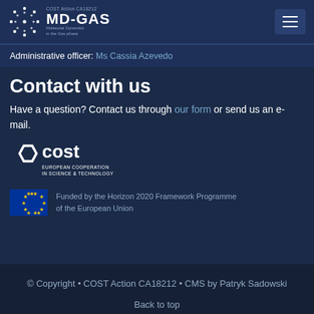COST Action CA18212 MD-GAS Molecular Dynamics in the Gas phase
Administrative officer: Ms Cassia Azevedo
Contact with us
Have a question? Contact us through our form or send us an e-mail.
[Figure (logo): COST European Cooperation in Science & Technology logo]
[Figure (logo): EU flag with text: Funded by the Horizon 2020 Framework Programme of the European Union]
© Copyright • COST Action CA18212 • CMS by Patryk Sadowski
Back to top